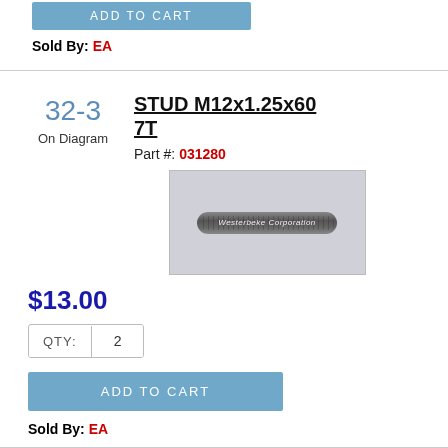[Figure (other): Blue 'ADD TO CART' button (partial, from previous item)]
Sold By: EA
32-3
On Diagram
STUD M12x1.25x60 7T
Part #: 031280
[Figure (photo): Photo of a threaded metal stud M12x1.25x60 7T with Westerbeke Corporation label]
$13.00
QTY: 2
ADD TO CART
Sold By: EA